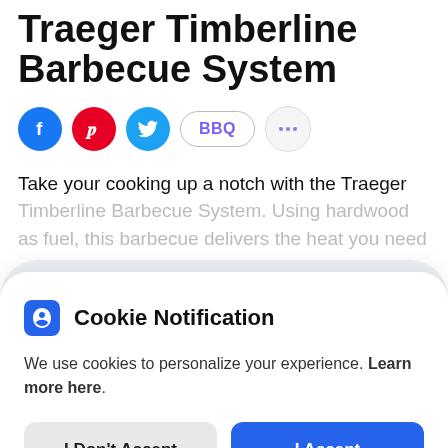Traeger Timberline Barbecue System
[Figure (infographic): Social sharing icons: Facebook (blue circle), Pinterest (red circle), Twitter (cyan circle), BBQ tag button, ellipsis chat bubble button]
Take your cooking up a notch with the Traeger Timberline Barbecue System. Using hardwood as fuel, this barbecue delivers the heat you need
Cookie Notification
We use cookies to personalize your experience. Learn more here.
I Don't Accept | I Accept